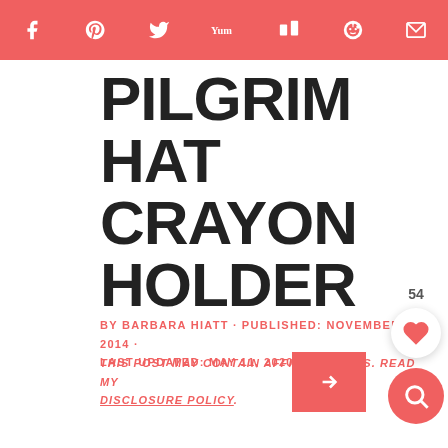Social share bar with icons: Facebook, Pinterest, Twitter, Yummly, Mix, Reddit, Email
PILGRIM HAT CRAYON HOLDER
BY BARBARA HIATT · PUBLISHED: NOVEMBER 2, 2014 · LAST UPDATED: MAY 11, 2020
THIS POST MAY CONTAIN AFFILIATE LINKS. READ MY DISCLOSURE POLICY.
[Figure (other): Like/heart button with count 54, and search button]
[Figure (other): Small pink thumbnail image with arrow]